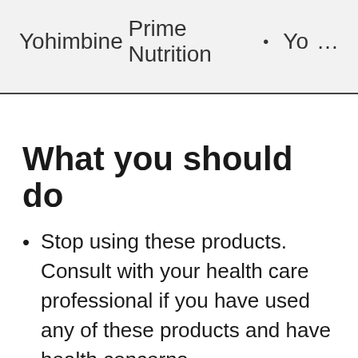| Product | Brand |  |
| --- | --- | --- |
| Yohimbine | Prime Nutrition | • Yo… |
What you should do
Stop using these products. Consult with your health care professional if you have used any of these products and have health concerns.
Read product labels to verify that health products have been authorized for sale by Health Canada. Authorized health